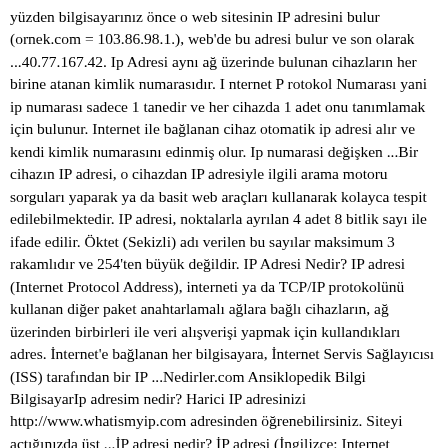yüzden bilgisayarınız önce o web sitesinin IP adresini bulur (ornek.com = 103.86.98.1.), web'de bu adresi bulur ve son olarak ...40.77.167.42. Ip Adresi aynı ağ üzerinde bulunan cihazların her birine atanan kimlik numarasıdır. I nternet P rotokol Numarası yani ip numarası sadece 1 tanedir ve her cihazda 1 adet onu tanımlamak için bulunur. Internet ile bağlanan cihaz otomatik ip adresi alır ve kendi kimlik numarasını edinmiş olur. Ip numarasi değişken ...Bir cihazın IP adresi, o cihazdan IP adresiyle ilgili arama motoru sorguları yaparak ya da basit web araçları kullanarak kolayca tespit edilebilmektedir. IP adresi, noktalarla ayrılan 4 adet 8 bitlik sayı ile ifade edilir. Öktet (Sekizli) adı verilen bu sayılar maksimum 3 rakamlıdır ve 254'ten büyük değildir. IP Adresi Nedir? IP adresi (Internet Protocol Address), interneti ya da TCP/IP protokolünü kullanan diğer paket anahtarlamalı ağlara bağlı cihazların, ağ üzerinden birbirleri ile veri alışverişi yapmak için kullandıkları adres. İnternet'e bağlanan her bilgisayara, İnternet Servis Sağlayıcısı (ISS) tarafından bir IP ...Nedirler.com Ansiklopedik Bilgi BilgisayarIp adresim nedir? Harici IP adresinizi http://www.whatismyip.com adresinden öğrenebilirsiniz. Siteyi açtığınızda üst ...İP adresi nedir? İP adresi (İngilizce: Internet Protocol Address), internete ya da diğer herhangi bir bilgisayar ağına bağlı cihazların, ağ üzerinden birbirlerine veri yollamak için kullandıkları adrestir. Genel IPv4 ve IPv6 adresinizin sizin hakkınızda neler açığa vurduğunu öğrenin! IP adresi bilgilerim konumunuzu gösterir; bir harita üzerinde şehir, bölge, ülke, ISP ve